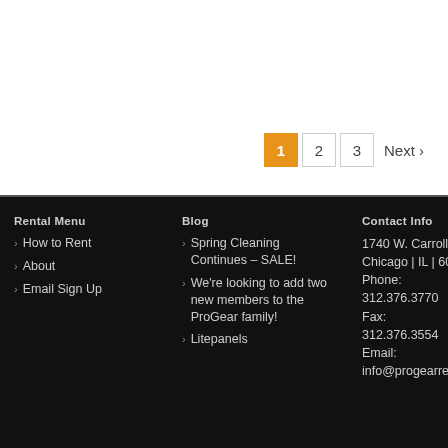Pagination: 1 2 3 Next
Rental Menu
How to Rent
About
Email Sign Up
Blog
Spring Cleaning Continues – SALE!
We're looking to add two new members to the ProGear family!
Litepanels
Contact Info
1740 W. Carroll Ave. | Chicago | IL | 60612 Phone: 312.376.3770 Fax: 312.376.3554 Email: info@progearrental.co